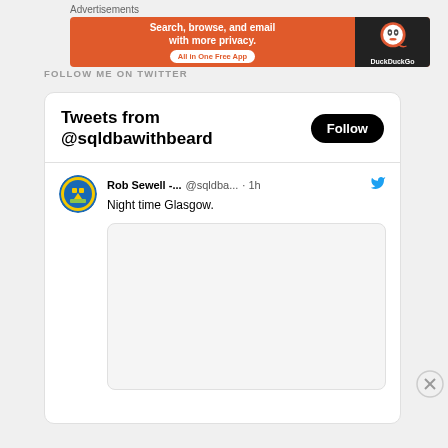FOLLOW ME ON TWITTER
[Figure (screenshot): Twitter widget showing 'Tweets from @sqldbawithbeard' with a Follow button. A tweet by Rob Sewell (@sqldba...) posted 1h ago reads 'Night time Glasgow.' with an image placeholder below.]
Advertisements
[Figure (screenshot): DuckDuckGo advertisement banner: 'Search, browse, and email with more privacy. All in One Free App' with DuckDuckGo logo on dark background.]